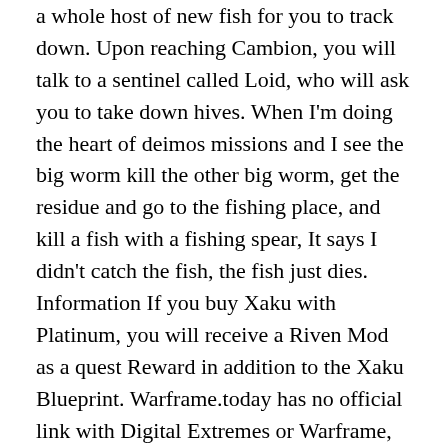a whole host of new fish for you to track down. Upon reaching Cambion, you will talk to a sentinel called Loid, who will ask you to take down hives. When I'm doing the heart of deimos missions and I see the big worm kill the other big worm, get the residue and go to the fishing place, and kill a fish with a fishing spear, It says I didn't catch the fish, the fish just dies. Information If you buy Xaku with Platinum, you will receive a Riven Mod as a quest Reward in addition to the Xaku Blueprint. Warframe.today has no official link with Digital Extremes or Warframe, we are just a fan site. He applauds their combat readiness, but due to his estranged relationship with Mother he does